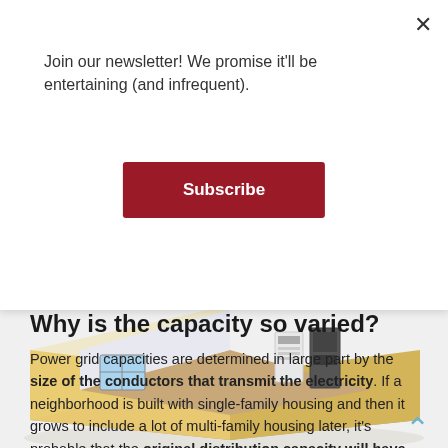Join our newsletter! We promise it'll be entertaining (and infrequent).
Subscribe
[Figure (illustration): Isometric illustration of a house cross-section showing interior with furniture and appliances, including what appears to be an electrical panel or battery storage unit.]
Why is the capacity so varied?
Power grid capacities are determined in large part by the size of the conductors that transmit the electricity. If a neighborhood is built with single-family housing and then it grows to include a lot of multi-family housing later, it's probable that the original distribution capacity will have to be upgraded. There are ways to plan for this– to futureproof,